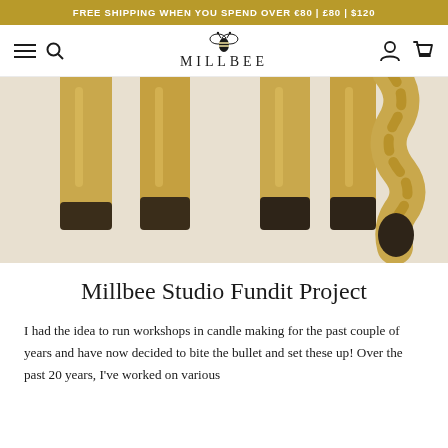FREE SHIPPING WHEN YOU SPEND OVER €80 | £80 | $120
[Figure (logo): Millbee brand logo with bee illustration and text MILLBEE]
[Figure (photo): Close-up photo of beeswax candles in golden/amber color with dark bases, some straight and one twisted, against a light background]
Millbee Studio Fundit Project
I had the idea to run workshops in candle making for the past couple of years and have now decided to bite the bullet and set these up! Over the past 20 years, I've worked on various